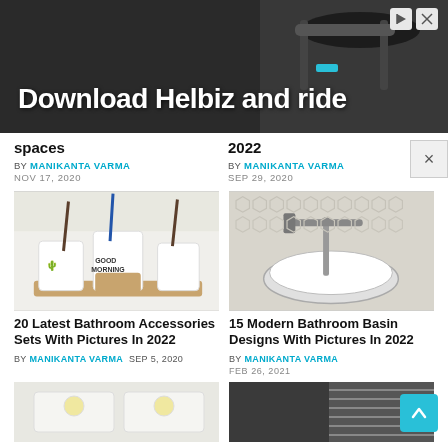[Figure (photo): Advertisement banner with dark background showing scooter/bike handlebars and text 'Download Helbiz and ride']
spaces
2022
BY MANIKANTA VARMA
NOV 17, 2020
BY MANIKANTA VARMA
SEP 29, 2020
[Figure (photo): Bathroom accessories set with mugs labeled 'GOOD MORNING', toothbrushes, and bamboo tray]
20 Latest Bathroom Accessories Sets With Pictures In 2022
BY MANIKANTA VARMA  SEP 5, 2020
[Figure (photo): Modern bathroom vessel sink with wall-mounted faucet and hexagonal tile background]
15 Modern Bathroom Basin Designs With Pictures In 2022
BY MANIKANTA VARMA
FEB 26, 2021
[Figure (photo): Bathroom ceiling light fixture, partially visible]
[Figure (photo): Bathroom window with blinds, partially visible]